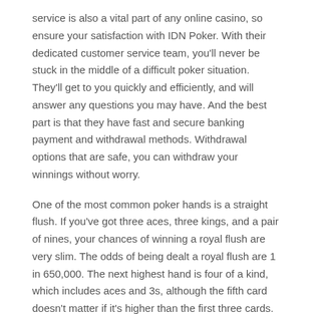service is also a vital part of any online casino, so ensure your satisfaction with IDN Poker. With their dedicated customer service team, you'll never be stuck in the middle of a difficult poker situation. They'll get to you quickly and efficiently, and will answer any questions you may have. And the best part is that they have fast and secure banking payment and withdrawal methods. Withdrawal options that are safe, you can withdraw your winnings without worry.
One of the most common poker hands is a straight flush. If you've got three aces, three kings, and a pair of nines, your chances of winning a royal flush are very slim. The odds of being dealt a royal flush are 1 in 650,000. The next highest hand is four of a kind, which includes aces and 3s, although the fifth card doesn't matter if it's higher than the first three cards.
How to Play the Online Lottery